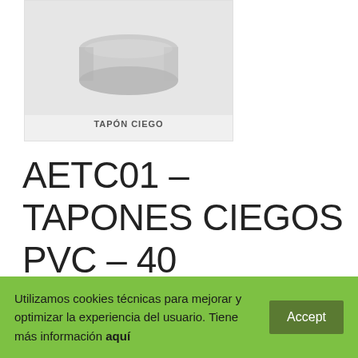[Figure (photo): Photo of a white PVC blind cap (tapón ciego) with label 'TAPÓN CIEGO' below]
AETC01 – TAPONES CIEGOS PVC – 40
0,40€
Utilizamos cookies técnicas para mejorar y optimizar la experiencia del usuario. Tiene más información aquí  Accept